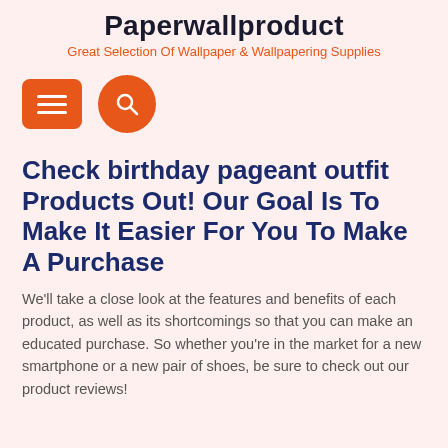Paperwallproduct
Great Selection Of Wallpaper & Wallpapering Supplies
[Figure (other): Orange hamburger menu button (rectangle with rounded corners) and orange circular search button with magnifying glass icon]
Check birthday pageant outfit Products Out! Our Goal Is To Make It Easier For You To Make A Purchase
We'll take a close look at the features and benefits of each product, as well as its shortcomings so that you can make an educated purchase. So whether you're in the market for a new smartphone or a new pair of shoes, be sure to check out our product reviews!